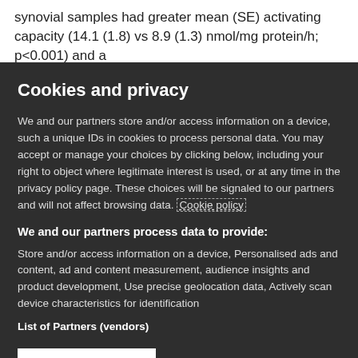synovial samples had greater mean (SE) activating capacity (14.1 (1.8) vs 8.9 (1.3) nmol/mg protein/h; p<0.001) and a
Cookies and privacy
We and our partners store and/or access information on a device, such as unique IDs in cookies to process personal data. You may accept or manage your choices by clicking below, including your right to object where legitimate interest is used, or at any time in the privacy policy page. These choices will be signaled to our partners and will not affect browsing data. Cookie policy
We and our partners process data to provide:
Store and/or access information on a device, Personalised ads and content, ad and content measurement, audience insights and product development, Use precise geolocation data, Actively scan device characteristics for identification
List of Partners (vendors)
I Accept